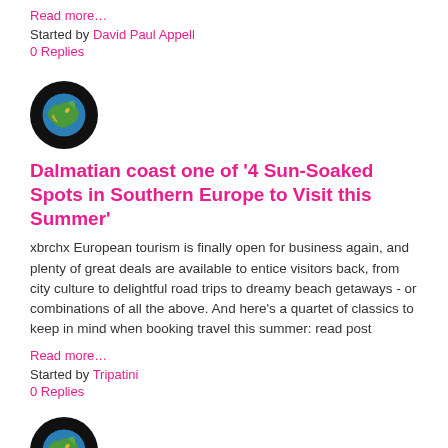Read more…
Started by David Paul Appell
0 Replies
[Figure (illustration): Globe icon with black background showing earth with green and brown landmasses]
Dalmatian coast one of '4 Sun-Soaked Spots in Southern Europe to Visit this Summer'
xbrchx European tourism is finally open for business again, and plenty of great deals are available to entice visitors back, from city culture to delightful road trips to dreamy beach getaways - or combinations of all the above. And here's a quartet of classics to keep in mind when booking travel this summer: read post
Read more…
Started by Tripatini
0 Replies
[Figure (illustration): Globe icon with black background showing earth with green and brown landmasses]
Croatia one of '5 of the World's Best Countries for Solo